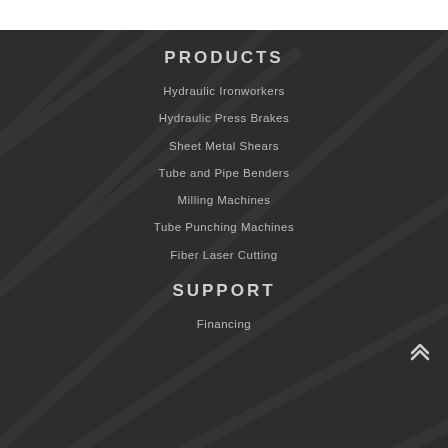PRODUCTS
Hydraulic Ironworkers
Hydraulic Press Brakes
Sheet Metal Shears
Tube and Pipe Benders
Milling Machines
Tube Punching Machines
Fiber Laser Cutting
SUPPORT
Financing